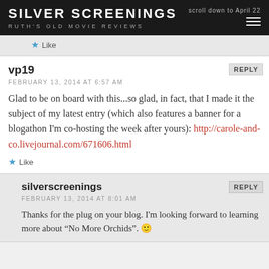SILVER SCREENINGS | RUTH'S OLD MOVIE REVIEWS
Like
vp19
FEBRUARY 13, 2014 AT 6:57 AM
Glad to be on board with this...so glad, in fact, that I made it the subject of my latest entry (which also features a banner for a blogathon I'm co-hosting the week after yours): http://carole-and-co.livejournal.com/671606.html
Like
silverscreenings
FEBRUARY 13, 2014 AT 8:01 AM
Thanks for the plug on your blog. I'm looking forward to learning more about "No More Orchids". 🙂